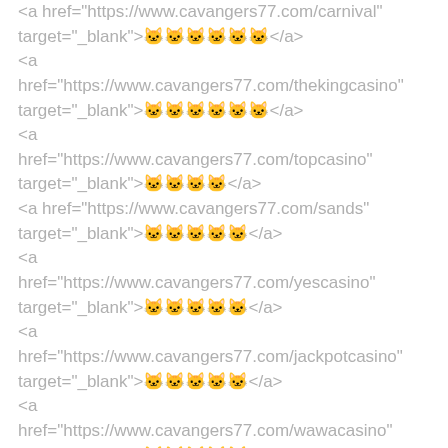<a href="https://www.cavangers77.com/carnival" target="_blank">🀄🀄🀄🀄🀄🀄</a>
<a href="https://www.cavangers77.com/thekingcasino" target="_blank">🀄🀄🀄🀄🀄🀄</a>
<a href="https://www.cavangers77.com/topcasino" target="_blank">🀄🀄🀄🀄</a>
<a href="https://www.cavangers77.com/sands" target="_blank">🀄🀄🀄🀄🀄</a>
<a href="https://www.cavangers77.com/yescasino" target="_blank">🀄🀄🀄🀄🀄</a>
<a href="https://www.cavangers77.com/jackpotcasino" target="_blank">🀄🀄🀄🀄🀄</a>
<a href="https://www.cavangers77.com/wawacasino" target="_blank">🀄🀄🀄🀄🀄</a>